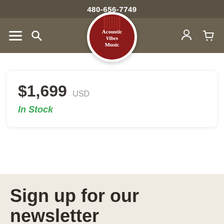480-656-7749
[Figure (logo): Acoustic Vibes Music circular logo with red background and white text]
$1,699 USD
In Stock
Sign up for our newsletter